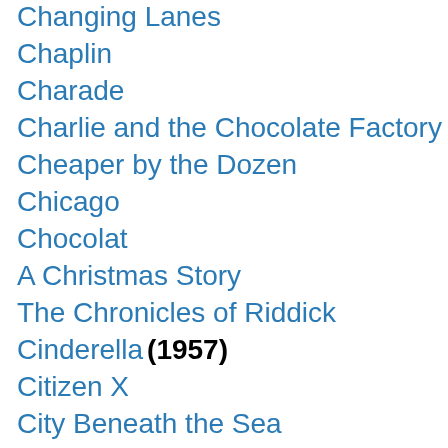Changing Lanes
Chaplin
Charade
Charlie and the Chocolate Factory
Cheaper by the Dozen
Chicago
Chocolat
A Christmas Story
The Chronicles of Riddick
Cinderella (1957)
Citizen X
City Beneath the Sea
City Slickers
Cleopatra
Clerks
Close Encounters of the Third Kind